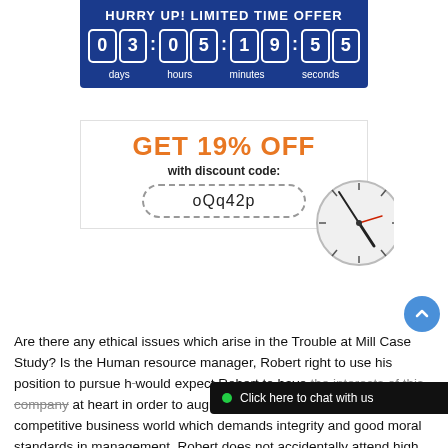HURRY UP! LIMITED TIME OFFER
[Figure (infographic): Countdown timer showing 03:05:19:55 with labels days, hours, minutes, seconds on a dark blue background]
GET 19% OFF with discount code: oQq42p
[Figure (illustration): Partial view of an analog clock face showing clock hands]
[Figure (other): Blue circular scroll-to-top button with upward chevron]
Are there any ethical issues which arise in the Trouble at Mill Case Study? Is the Human resource manager, Robert right to use his position to pursue h... would expect Robert to have the interests of the company at heart in order to augment its growth and performance in a competitive business world which demands integrity and good moral standards in management. Robert does not accidentally attend high profile meetings organized, this
Click here to chat with us